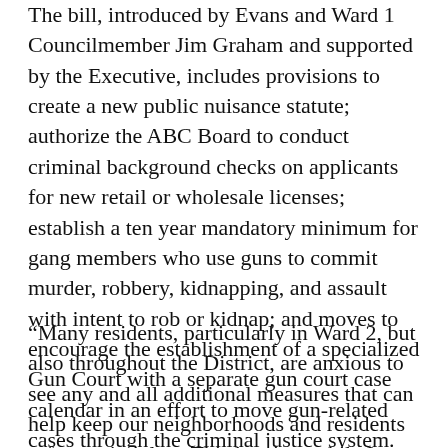The bill, introduced by Evans and Ward 1 Councilmember Jim Graham and supported by the Executive, includes provisions to create a new public nuisance statute; authorize the ABC Board to conduct criminal background checks on applicants for new retail or wholesale licenses; establish a ten year mandatory minimum for gang members who use guns to commit murder, robbery, kidnapping, and assault with intent to rob or kidnap; and moves to encourage the establishment of a specialized Gun Court with a separate gun court case calendar in an effort to move gun-related cases through the criminal justice system.
“Many residents, particularly in Ward 2, but also throughout the District, are anxious to see any and all additional measures that can help keep our neighborhoods and residents safer put into law. This hearing, while I am pleased it has been